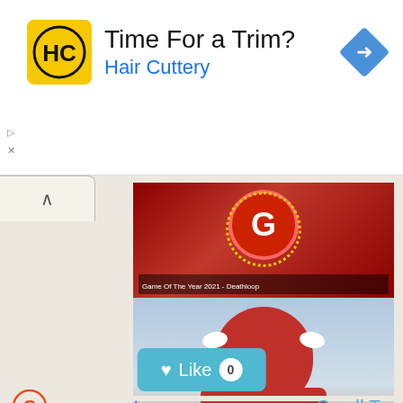[Figure (screenshot): Advertisement banner for Hair Cuttery with logo (HC in yellow circle), text 'Time For a Trim?' and 'Hair Cuttery' in blue, and a blue diamond arrow icon on the right. Play and close (X) icons on the left edge.]
[Figure (screenshot): Website screenshot showing GameSpot images: a Game of the Year 2021 Deathloop banner with G logo, and a Spider-Man image. Siteprice.org watermark visible. A teal 'Like 0' button below.]
gamespot.com
Scroll Top
Video Games Reviews & News - GameSpot
GameSpot delivers the best and most comprehensive video game and entertainment coverage, including news, reviews, trailers, walkthroughs, and guides for PS4, Xbox One, Nintendo Switch, PC, and Google